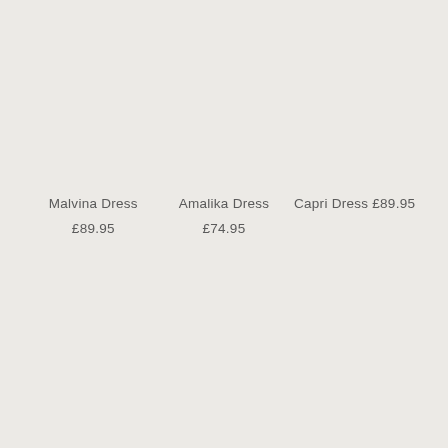Malvina Dress £89.95
Amalika Dress £74.95
Capri Dress £89.95